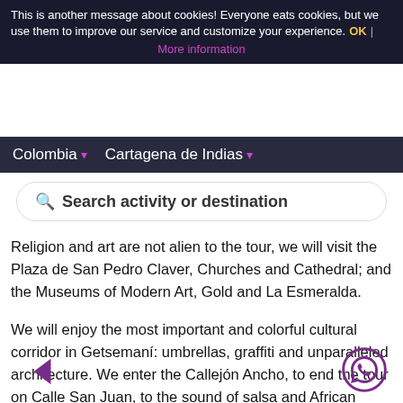This is another message about cookies! Everyone eats cookies, but we use them to improve our service and customize your experience. OK | More information
Colombia ▾  Cartagena de Indias ▾
🔍 Search activity or destination
Religion and art are not alien to the tour, we will visit the Plaza de San Pedro Claver, Churches and Cathedral; and the Museums of Modern Art, Gold and La Esmeralda.
We will enjoy the most important and colorful cultural corridor in Getsemaní: umbrellas, graffiti and unparalleled architecture. We enter the Callejón Ancho, to end the tour on Calle San Juan, to the sound of salsa and African champeta.